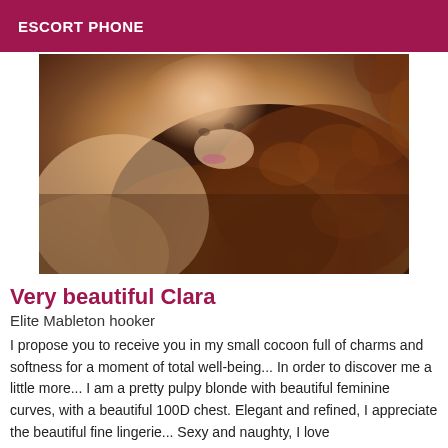ESCORT PHONE
[Figure (photo): Close-up photo of a woman with curly auburn/reddish-brown hair, face partially visible, warm skin tones]
Very beautiful Clara
Elite Mableton hooker
I propose you to receive you in my small cocoon full of charms and softness for a moment of total well-being... In order to discover me a little more... I am a pretty pulpy blonde with beautiful feminine curves, with a beautiful 100D chest. Elegant and refined, I appreciate the beautiful fine lingerie... Sexy and naughty, I love